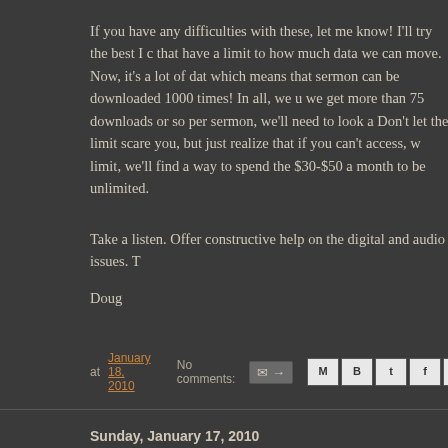If you have any difficulties with these, let me know! I'll try the best I can. Note that we're on a plan that have a limit to how much data we can move. Now, it's a lot of data per month, which means that sermon can be downloaded 1000 times! In all, we use... if we get more than 75 downloads or so per sermon, we'll need to look at another plan. Don't let the limit scare you, but just realize that if you can't access, we've hit the limit, we'll find a way to spend the $30-$50 a month to be unlimited.
Take a listen. Offer constructive help on the digital and audio issues. T
Doug
at January 18, 2010   No comments:
Sunday, January 17, 2010
Proverbs 17 by Doug
Proverbs 17:1 (NLT) –>Isn't that true! Peace, the presence of good rel